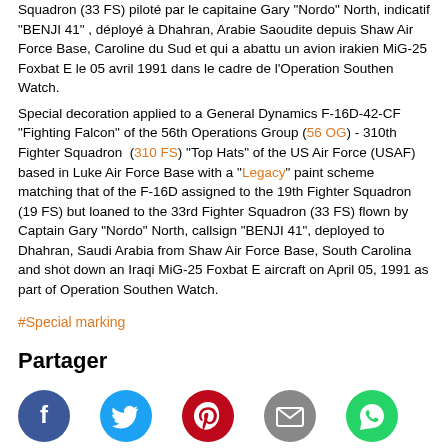Squadron (33 FS) piloté par le capitaine Gary "Nordo" North, indicatif "BENJI 41" , déployé à Dhahran, Arabie Saoudite depuis Shaw Air Force Base, Caroline du Sud et qui a abattu un avion irakien MiG-25 Foxbat E le 05 avril 1991 dans le cadre de l'Operation Southen Watch. Special decoration applied to a General Dynamics F-16D-42-CF "Fighting Falcon" of the 56th Operations Group (56 OG) - 310th Fighter Squadron (310 FS) "Top Hats" of the US Air Force (USAF) based in Luke Air Force Base with a "Legacy" paint scheme matching that of the F-16D assigned to the 19th Fighter Squadron (19 FS) but loaned to the 33rd Fighter Squadron (33 FS) flown by Captain Gary "Nordo" North, callsign "BENJI 41", deployed to Dhahran, Saudi Arabia from Shaw Air Force Base, South Carolina and shot down an Iraqi MiG-25 Foxbat E aircraft on April 05, 1991 as part of Operation Southen Watch.
#Special marking
Partager
[Figure (infographic): Social sharing icons: Facebook (blue circle with f), Twitter (cyan circle with bird), Pinterest (dark red circle with P), Email (grey circle with envelope), WhatsApp (green circle with phone)]